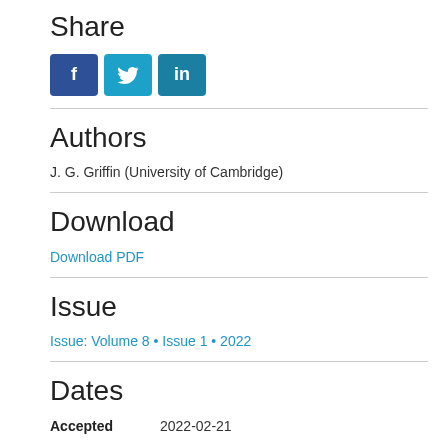Share
[Figure (other): Social media share buttons: Facebook (f), Twitter (bird icon), LinkedIn (in)]
Authors
J. G. Griffin (University of Cambridge)
Download
Download PDF
Issue
Issue: Volume 8 • Issue 1 • 2022
Dates
Accepted    2022-02-21